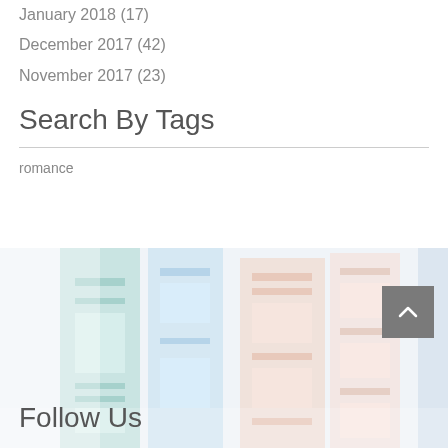January 2018 (17)
December 2017 (42)
November 2017 (23)
Search By Tags
romance
[Figure (photo): Faded pastel-colored books standing upright on a shelf, viewed from the side, with soft light blue and peach tones]
Follow Us